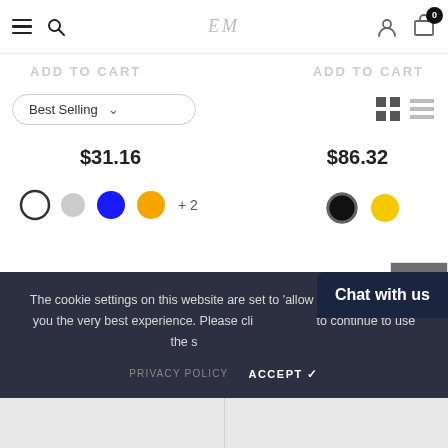EM - navigation header with menu, search, logo, user, cart (0)
ADD TO CART (faded) | ADD TO CART (faded)
Best Selling (dropdown)
$31.16
$86.32
[Figure (illustration): Color swatches left: white outline circle, grey circle, blue circle, orange circle, +2 more]
[Figure (illustration): Color swatches right: black filled circle with outline, yellow circle]
[Figure (illustration): Sidebar with back-to-top button (dark grey with up chevron), refresh/share icon, and up arrow icon]
The cookie settings on this website are set to 'allow all cookies' to give you the very best experience. Please cli... ...to continue to use the s...
Chat with us
PRIVACY POLICY   ACCEPT ✔